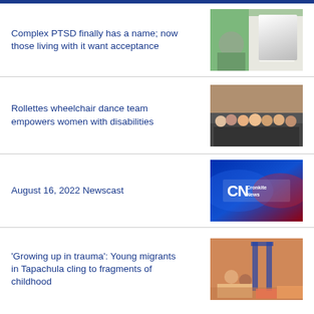Complex PTSD finally has a name; now those living with it want acceptance
[Figure (photo): Doctor in white coat speaking with a patient in green]
Rollettes wheelchair dance team empowers women with disabilities
[Figure (photo): Group photo of wheelchair dance team members posing together]
August 16, 2022 Newscast
[Figure (photo): Cronkite News logo on blue and red broadcast background]
'Growing up in trauma': Young migrants in Tapachula cling to fragments of childhood
[Figure (photo): Children and adults sitting in a colorful shelter or play area]